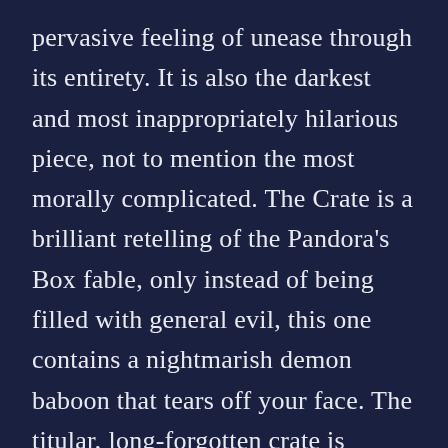pervasive feeling of unease through its entirety. It is also the darkest and most inappropriately hilarious piece, not to mention the most morally complicated. The Crate is a brilliant retelling of the Pandora's Box fable, only instead of being filled with general evil, this one contains a nightmarish demon baboon that tears off your face. The titular, long-forgotten crate is accidentally discovered under the stairs of a Miskatonic-like University. After the box claims one foolish janitor and an overly curious grad student, distraught Professor Stanley (Fritz Weaver) calls his colleague, Henry Northrup (Hal Holbrook), for advice on dealing with th…